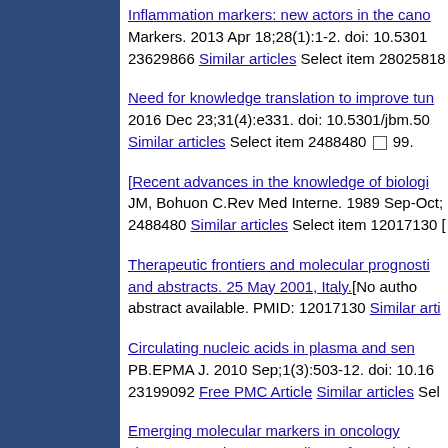Inflammation markers: new actors in the cano... Markers. 2013 Apr 18;28(1):1-2. doi: 10.5301... 23629866 Similar articles Select item 28025818...
Need for knowledge translation to improve tun... 2016 Dec 23;31(4):e331. doi: 10.5301/jbm.50... Similar articles Select item 2488480 [checkbox] 99.
[Recent advances in the knowledge of biologi... JM, Bohuon C.Rev Med Interne. 1989 Sep-Oct;... 2488480 Similar articles Select item 12017130 [...]
Therapeutic frontiers and molecular prognosti... and abstracts. 25 May 2001, Italy.[No autho... abstract available. PMID: 12017130 Similar arti...
Circulating nucleic acids in plasma and sen... PB.EPMA J. 2010 Sep;1(3):503-12. doi: 10.16... 23199092 Free PMC Article Similar articles Sele...
Emerging molecular markers in oncology... chemoprevention. Proceedings of a worksho... listed]Int J Biol Markers. 2003 Jan-Mar;18(1...